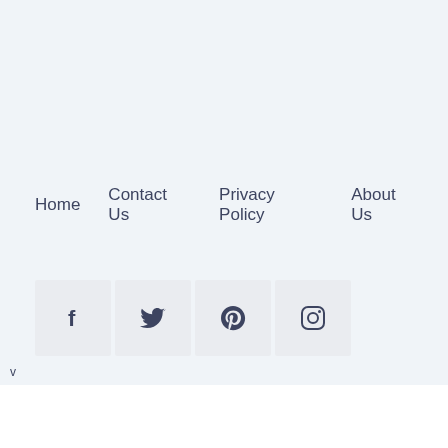Home
Contact Us
Privacy Policy
About Us
[Figure (infographic): Row of four social media icon buttons: Facebook (f), Twitter (bird), Pinterest (p), Instagram (camera)]
v